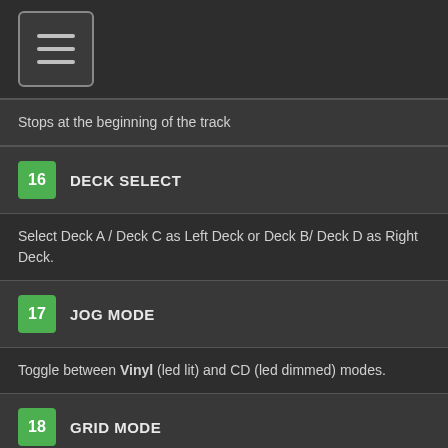[Figure (other): Hamburger menu icon button in top-left corner]
Stops at the beginning of the track
16  DECK SELECT
Select Deck A / Deck C as Left Deck or Deck B/ Deck D as Right Deck.
17  JOG MODE
Toggle between Vinyl (led lit) and CD (led dimmed) modes.
18  GRID MODE
Sets jogwheel to Grid mode while pressed.
Re-analyze BPM and beatgrid (undo Grid manual adjusts)
19  JOGWHEEL